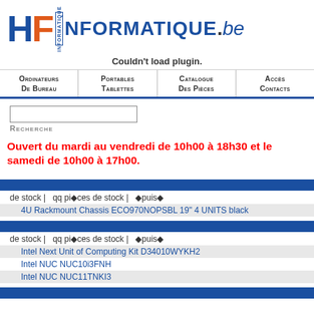[Figure (logo): HF Informatique.be logo with blue H, orange F, vertical INFORMATIQUE text, and blue italic .be]
Couldn't load plugin.
Ordinateurs De bureau | Portables Tablettes | Catalogue Des pièces | Accès Contacts
[Figure (other): Search input box]
Recherche
Ouvert du mardi au vendredi de 10h00 à 18h30 et le samedi de 10h00 à 17h00.
de stock | qq pièces de stock | épuisé
4U Rackmount Chassis ECO970NOPSBL 19" 4 UNITS black
de stock | qq pièces de stock | épuisé
Intel Next Unit of Computing Kit D34010WYKH2
Intel NUC NUC10i3FNH
Intel NUC NUC11TNKI3